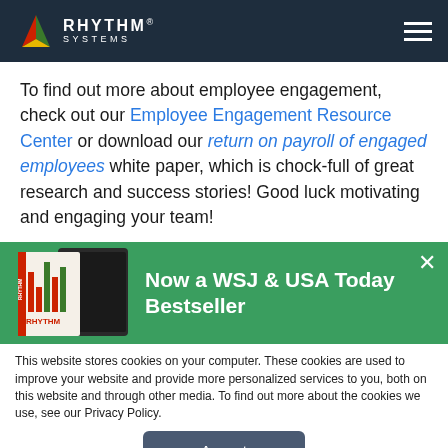Rhythm Systems
To find out more about employee engagement, check out our Employee Engagement Resource Center or download our return on payroll of engaged employees white paper, which is chock-full of great research and success stories! Good luck motivating and engaging your team!
[Figure (infographic): Green promotional banner with book cover images and text 'Now a WSJ & USA Today Bestseller']
This website stores cookies on your computer. These cookies are used to improve your website and provide more personalized services to you, both on this website and through other media. To find out more about the cookies we use, see our Privacy Policy.